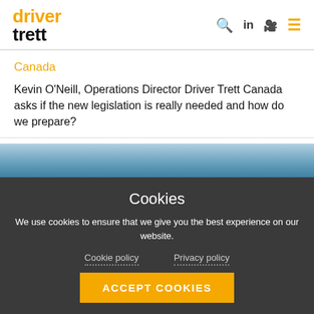driver trett
Canada
Kevin O'Neill, Operations Director Driver Trett Canada asks if the new legislation is really needed and how do we prepare?
[Figure (photo): Blue gradient image strip]
Cookies
We use cookies to ensure that we give you the best experience on our website.
Cookie policy   Privacy policy
ACCEPT COOKIES